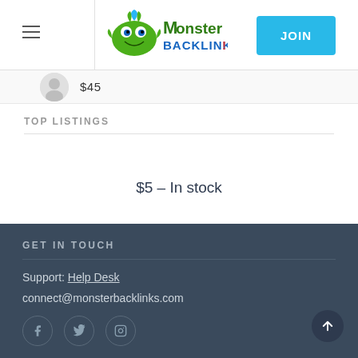Monster Backlinks — JOIN
$45
TOP LISTINGS
$5 – In stock
GET IN TOUCH
Support: Help Desk
connect@monsterbacklinks.com